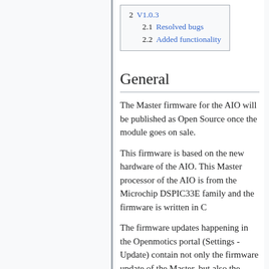2 V1.0.3
2.1 Resolved bugs
2.2 Added functionality
General
The Master firmware for the AIO will be published as Open Source once the module goes on sale.
This firmware is based on the new hardware of the AIO. This Master processor of the AIO is from the Microchip DSPIC33E family and the firmware is written in C
The firmware updates happening in the Openmotics portal (Settings - Update) contain not only the firmware update of the Master, but also the firmware of other modules as well as the updates for the